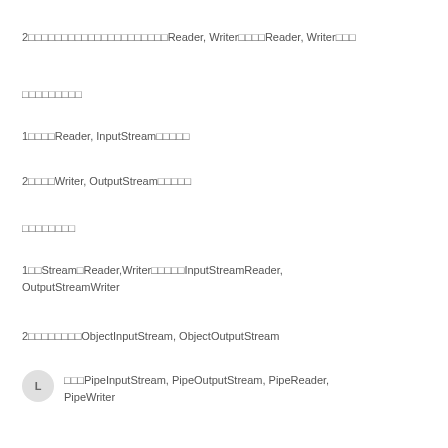2□□□□□□□□□□□□□□□□□□□□□Reader, Writer□□□□Reader, Writer□□□
□□□□□□□□□
1□□□□Reader, InputStream□□□□□
2□□□□Writer, OutputStream□□□□□
□□□□□□□□
1□□Stream□Reader,Writer□□□□□InputStreamReader, OutputStreamWriter
2□□□□□□□□ObjectInputStream, ObjectOutputStream
L □□□PipeInputStream, PipeOutputStream, PipeReader, PipeWriter